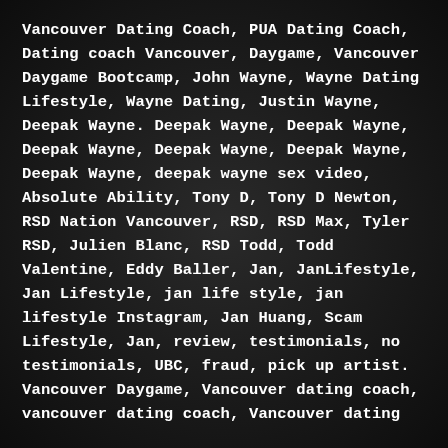Vancouver Dating Coach, PUA Dating Coach, Dating coach Vancouver, Daygame, Vancouver Daygame Bootcamp, John Wayne, Wayne Dating Lifestyle, Wayne Dating, Justin Wayne, Deepak Wayne. Deepak Wayne, Deepak Wayne, Deepak Wayne, Deepak Wayne, Deepak Wayne, Deepak Wayne, deepak wayne sex video, Absolute Ability, Tony D, Tony D Newton, RSD Nation Vancouver, RSD, RSD Max, Tyler RSD, Julien Blanc, RSD Todd, Todd Valentine, Eddy Baller, Jan, JanLifestyle, Jan Lifestyle, jan life style, jan lifestyle Instagram, Jan Huang, Scam Lifestyle, Jan, review, testimonials, no testimonials, UBC, fraud, pick up artist. Vancouver Daygame, Vancouver dating coach, vancouver dating coach, Vancouver dating